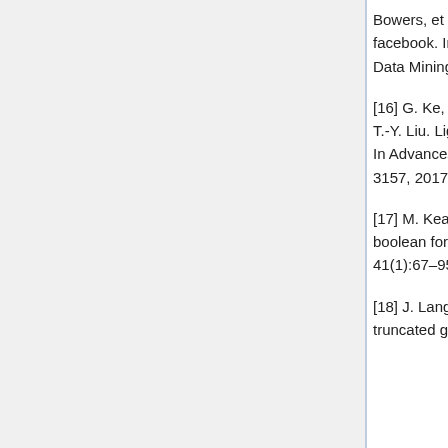Bowers, et al. Practical lessons from predicting clicks on ads at facebook. In Proceedings of the Eighth International Workshop on Data Mining for Online Advertising, pages 1–9. ACM, 2014.
[16] G. Ke, Q. Meng, T. Finley, T. Wang, W. Chen, W. Ma, Q. Ye, and T.-Y. Liu. Lightgbm: A highly efficient gradient boosting decision tree. In Advances in Neural Information Processing Systems, pages 3149–3157, 2017.
[17] M. Kearns and L. Valiant. Cryptographic limitations on learning boolean formulae and finite automata. Journal of the ACM (JACM), 41(1):67–95, 1994.
[18] J. Langford, L. Li, and T. Zhang. Sparse online learning via truncated gradient. Journal of Machine Learning